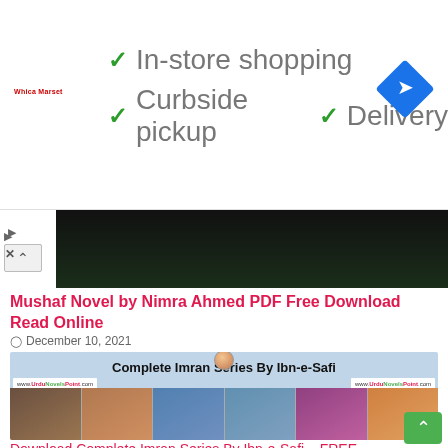[Figure (screenshot): Web advertisement banner showing store features: checkmarks for In-store shopping, Curbside pickup, and Delivery with a blue diamond navigation icon. Small red brand logo on left. Play and X icons on left edge.]
[Figure (photo): Dark green/black image strip from a book or website header.]
Mushaf Novel by Nimra Ahmed PDF Free Download Read Online
December 10, 2021
[Figure (photo): Complete Imran Series By Ibn-e-Safi book covers collage on light blue background with www.UrduNovelsPoint.com watermarks, showing multiple Urdu novel covers with a portrait avatar at top center.]
Download Complete Imran Series By Ibn-e-Safi – FREE